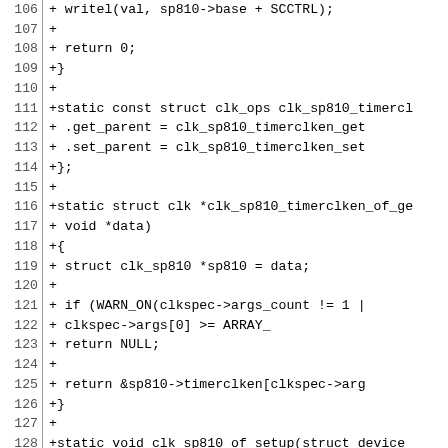[Figure (other): Source code diff showing lines 106-135 of a C kernel clock driver file, with added lines (prefixed with +) showing functions for sp810 timer clock operations including writel, return statements, struct definitions, clk_ops, and setup functions.]